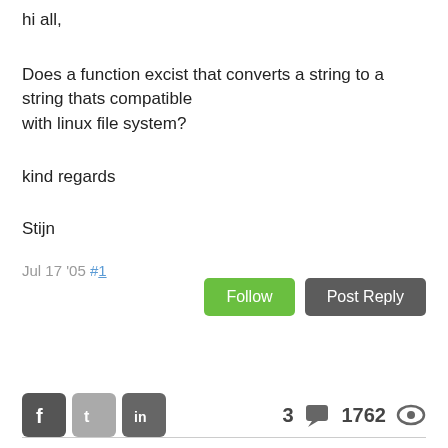hi all,
Does a function excist that converts a string to a string thats compatible with linux file system?
kind regards
Stijn
Jul 17 '05 #1
[Figure (other): Follow button (green) and Post Reply button (dark gray)]
[Figure (other): Social media icons: Facebook, Twitter, LinkedIn. Stats: 3 comments, 1762 views. Horizontal rule below.]